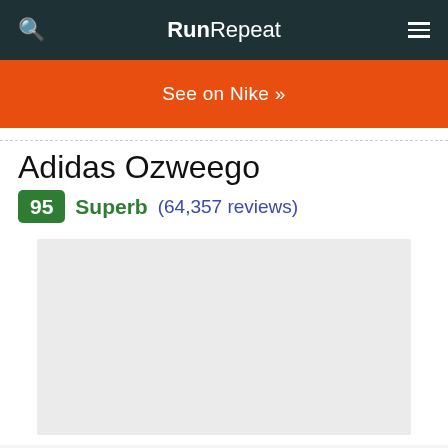RunRepeat
See on Nike »
Adidas Ozweego
95 Superb (64,357 reviews)
[Figure (photo): Product image placeholder (light gray box)]